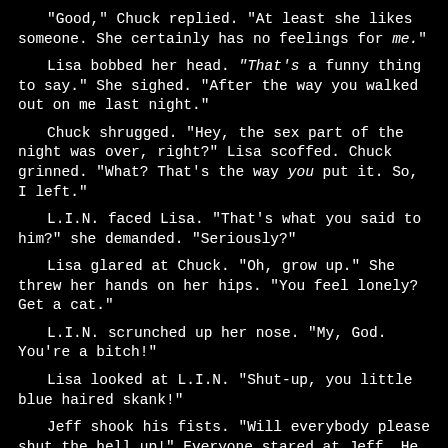"Good," Chuck replied. "At least she likes someone. She certainly has no feelings for me."
Lisa bobbed her head. "That's a funny thing to say." She sighed. "After the way you walked out on me last night."
Chuck shrugged. "Hey, the sex part of the night was over, right?" Lisa scoffed. Chuck grinned. "What? That's the way you put it. So, I left."
L.I.N. faced Lisa. "That's what you said to him?" she demanded. "Seriously?"
Lisa glared at Chuck. "Oh, grow up." She threw her hands on her hips. "You feel lonely? Get a cat."
L.I.N. scrunched up her nose. "My, God. You're a bitch!"
Lisa looked at L.I.N. "Shut-up, you little blue haired skank!"
Jeff shook his fists. "Will everybody please shut the hell up!" Everyone stared at Jeff. He stared at Chuck. "Did you get it or what?"